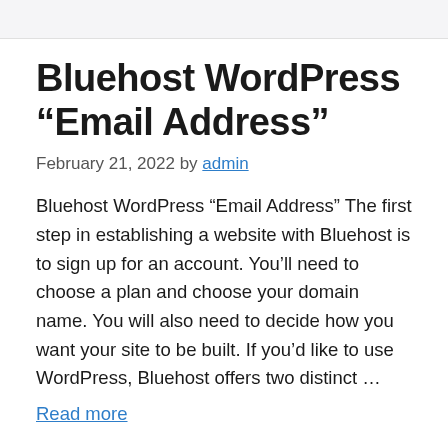Bluehost WordPress “Email Address”
February 21, 2022 by admin
Bluehost WordPress “Email Address” The first step in establishing a website with Bluehost is to sign up for an account. You’ll need to choose a plan and choose your domain name. You will also need to decide how you want your site to be built. If you’d like to use WordPress, Bluehost offers two distinct …
Read more